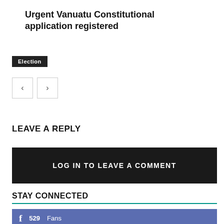Urgent Vanuatu Constitutional application registered
Election
LEAVE A REPLY
LOG IN TO LEAVE A COMMENT
STAY CONNECTED
529 Fans
172 Followers FOLLOW